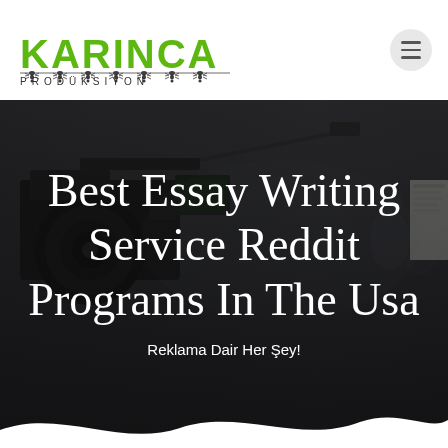[Figure (logo): Karınca Prodüksiyon logo — green stylized text KARINCA with ant silhouettes on a baseline, subtitle PRODÜKSIYON in spaced caps]
[Figure (photo): Hero image: dark film/video production set with professional camera equipment in foreground and blurred crew members in background]
Best Essay Writing Service Reddit Programs In The Usa
Reklama Dair Her Şey!